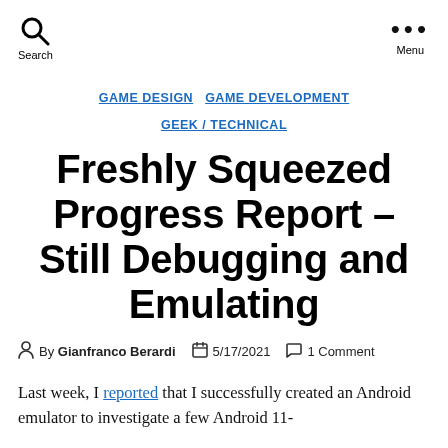Search  Menu
GAME DESIGN  GAME DEVELOPMENT  GEEK / TECHNICAL
Freshly Squeezed Progress Report – Still Debugging and Emulating
By Gianfranco Berardi  5/17/2021  1 Comment
Last week, I reported that I successfully created an Android emulator to investigate a few Android 11-